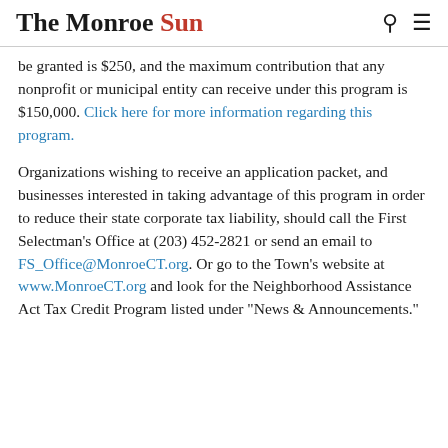The Monroe Sun
be granted is $250, and the maximum contribution that any nonprofit or municipal entity can receive under this program is $150,000. Click here for more information regarding this program.
Organizations wishing to receive an application packet, and businesses interested in taking advantage of this program in order to reduce their state corporate tax liability, should call the First Selectman’s Office at (203) 452-2821 or send an email to FS_Office@MonroeCT.org. Or go to the Town’s website at www.MonroeCT.org and look for the Neighborhood Assistance Act Tax Credit Program listed under “News & Announcements.”